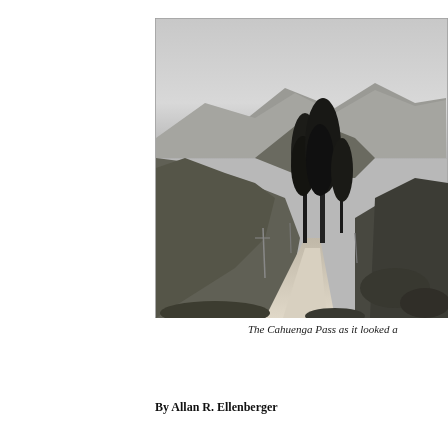[Figure (photo): Black and white historical photograph of the Cahuenga Pass, showing a narrow dirt road winding through hills with tall trees on either side and mountains in the background.]
The Cahuenga Pass as it looked a
By Allan R. Ellenberger